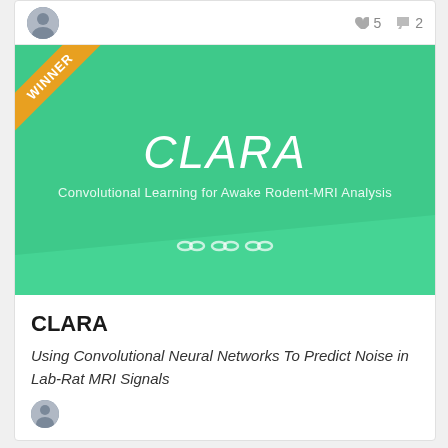[Figure (screenshot): Card UI with user avatar, heart count 5 and comment count 2]
[Figure (illustration): Green banner with WINNER ribbon, CLARA title in italic white text, subtitle 'Convolutional Learning for Awake Rodent-MRI Analysis', and three infinity-like decorative icons]
CLARA
Using Convolutional Neural Networks To Predict Noise in Lab-Rat MRI Signals